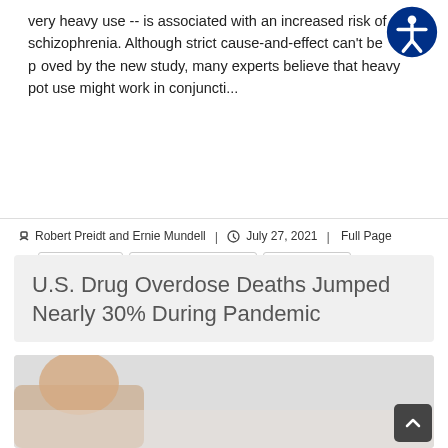very heavy use -- is associated with an increased risk of schizophrenia. Although strict cause-and-effect can't be proved by the new study, many experts believe that heavy pot use might work in conjuncti...
Robert Preidt and Ernie Mundell | July 27, 2021 | Full Page
Drug Abuse
Drug Abuse: Effects
Drugs: Misc.
Marijuana
Mental Illness / Retardation
Schizophrenia
U.S. Drug Overdose Deaths Jumped Nearly 30% During Pandemic
[Figure (photo): Partial photo of a person, likely a patient or medical context image related to drug overdose article]